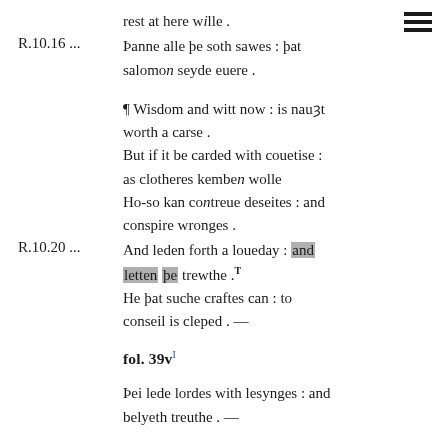rest at here wille .
R.10.16 ...   Þanne alle þe soth sawes : þat salomon seyde euere .
¶ Wisdom and witt now : is nauȝt worth a carse . But if it be carded with couetise : as clotheres kemben wolle Ho-so kan contreue deseites : and conspire wronges .
R.10.20 ...   And leden forth a loueday : and letten þe trewthe .T He þat suche craftes can : to conseil is cleped . —
fol. 39vI
Þei lede lordes with lesynges : and belyeth treuthe . —